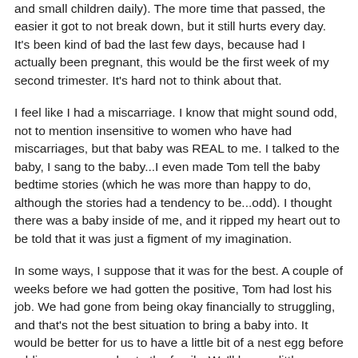and small children daily). The more time that passed, the easier it got to not break down, but it still hurts every day. It's been kind of bad the last few days, because had I actually been pregnant, this would be the first week of my second trimester. It's hard not to think about that.
I feel like I had a miscarriage. I know that might sound odd, not to mention insensitive to women who have had miscarriages, but that baby was REAL to me. I talked to the baby, I sang to the baby...I even made Tom tell the baby bedtime stories (which he was more than happy to do, although the stories had a tendency to be...odd). I thought there was a baby inside of me, and it ripped my heart out to be told that it was just a figment of my imagination.
In some ways, I suppose that it was for the best. A couple of weeks before we had gotten the positive, Tom had lost his job. We had gone from being okay financially to struggling, and that's not the best situation to bring a baby into. It would be better for us to have a little bit of a nest egg before adding someone else to the family. We'll have a little more time to just be newlyweds, and maybe get the chance to take the